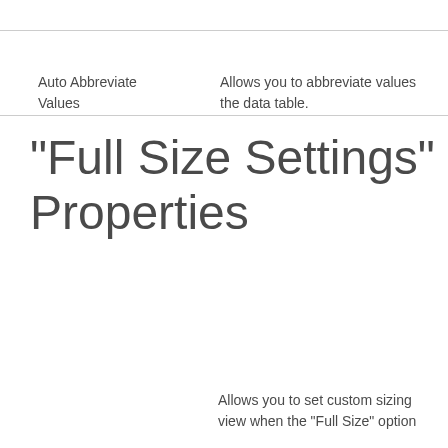| Property | Description |
| --- | --- |
| Auto Abbreviate Values | Allows you to abbreviate values the data table. |
"Full Size Settings" Properties
Allows you to set custom sizing view when the "Full Size" option